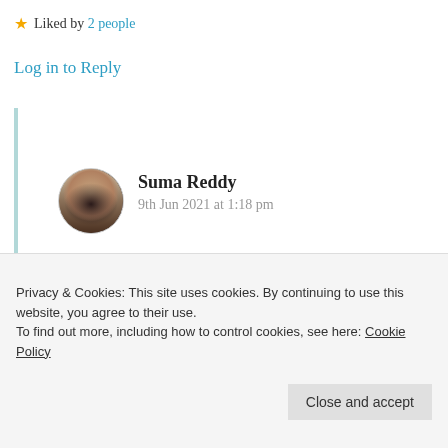★ Liked by 2 people
Log in to Reply
Suma Reddy
9th Jun 2021 at 1:18 pm
Thanks for the highlights Sir, truly last lines meant deeply from my heart.
Privacy & Cookies: This site uses cookies. By continuing to use this website, you agree to their use.
To find out more, including how to control cookies, see here: Cookie Policy
Close and accept
Log in to Reply